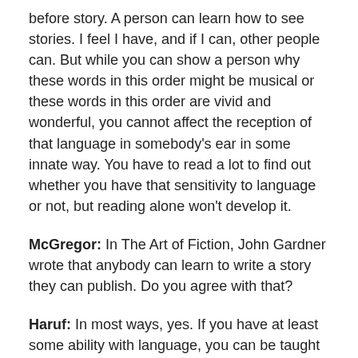before story. A person can learn how to see stories. I feel I have, and if I can, other people can. But while you can show a person why these words in this order might be musical or these words in this order are vivid and wonderful, you cannot affect the reception of that language in somebody's ear in some innate way. You have to read a lot to find out whether you have that sensitivity to language or not, but reading alone won't develop it.
McGregor: In The Art of Fiction, John Gardner wrote that anybody can learn to write a story they can publish. Do you agree with that?
Haruf: In most ways, yes. If you have at least some ability with language, you can be taught to write a story. If you work at it, it will be published, yes. But most people don't have the talent for work required. The persistence that takes you past defeats and helps you